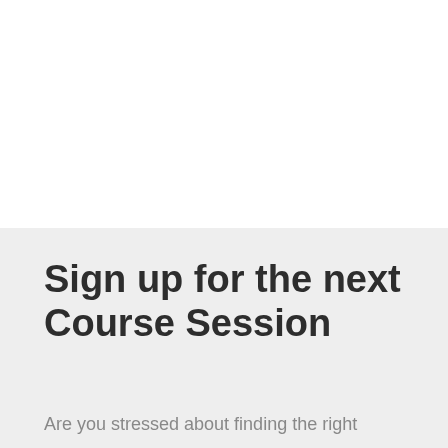Sign up for the next Course Session
Are you stressed about finding the right